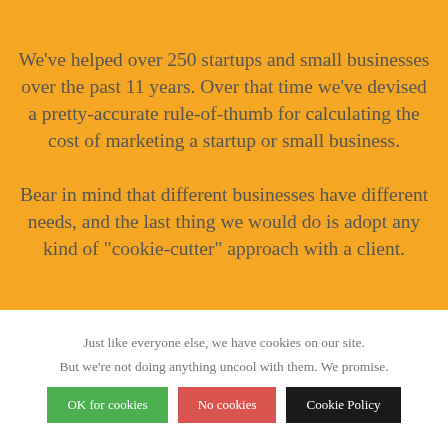We've helped over 250 startups and small businesses over the past 11 years. Over that time we've devised a pretty-accurate rule-of-thumb for calculating the cost of marketing a startup or small business.

Bear in mind that different businesses have different needs, and the last thing we would do is adopt any kind of "cookie-cutter" approach with a client.
Just like everyone else, we have cookies on our site.
But we're not doing anything uncool with them. We promise.
OK for cookies
No cookies
Cookie Policy